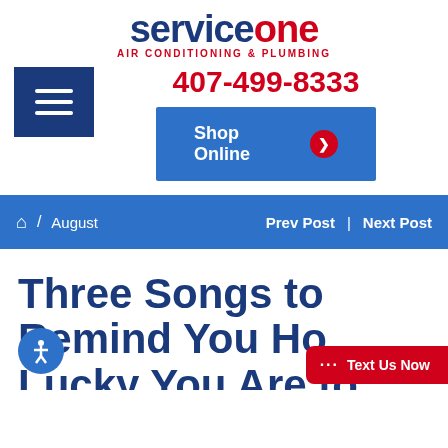[Figure (logo): Service One Air Conditioning & Plumbing logo — 'service' in dark blue bold, 'one' in red bold, subtitle 'AIR CONDITIONING & PLUMBING' in red capitals]
407-499-8333
[Figure (other): Dark navy hamburger menu button with three white horizontal bars]
[Figure (other): Blue 'Shop Online' button with red circle arrow icon]
🏠 / August   Prev Post | Next Post
Three Songs to Remind You How Lucky You Are to...
[Figure (other): Blue circular accessibility icon button]
[Figure (other): Red 'Text Us Now' button in bottom right corner]